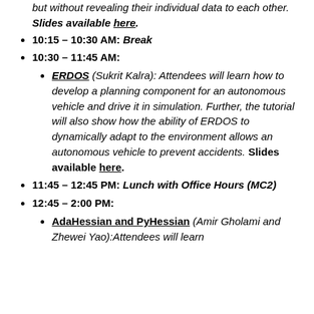but without revealing their individual data to each other. Slides available here.
10:15 – 10:30 AM: Break
10:30 – 11:45 AM:
ERDOS (Sukrit Kalra): Attendees will learn how to develop a planning component for an autonomous vehicle and drive it in simulation. Further, the tutorial will also show how the ability of ERDOS to dynamically adapt to the environment allows an autonomous vehicle to prevent accidents. Slides available here.
11:45 – 12:45 PM: Lunch with Office Hours (MC2)
12:45 – 2:00 PM:
AdaHessian and PyHessian (Amir Gholami and Zhewei Yao):Attendees will learn